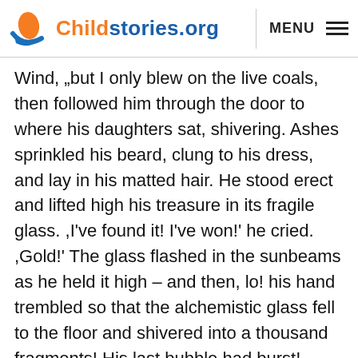Childstories.org  MENU
Wind, „but I only blew on the live coals, then followed him through the door to where his daughters sat, shivering. Ashes sprinkled his beard, clung to his dress, and lay in his matted hair. He stood erect and lifted high his treasure in its fragile glass. ,I've found it! I've won!' he cried. ,Gold!' The glass flashed in the sunbeams as he held it high – and then, lo! his hand trembled so that the alchemistic glass fell to the floor and shivered into a thousand fragments! His last bubble had burst! Whew, whew, whew! On, on, on! And I went on, away